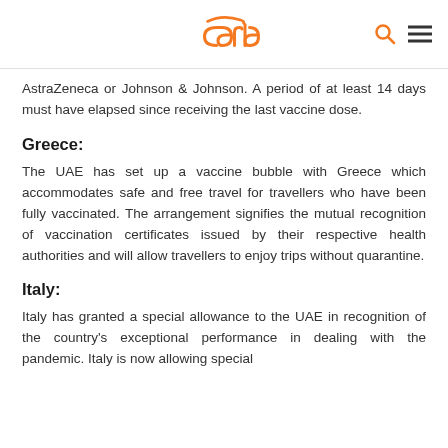carla
AstraZeneca or Johnson & Johnson. A period of at least 14 days must have elapsed since receiving the last vaccine dose.
Greece:
The UAE has set up a vaccine bubble with Greece which accommodates safe and free travel for travellers who have been fully vaccinated. The arrangement signifies the mutual recognition of vaccination certificates issued by their respective health authorities and will allow travellers to enjoy trips without quarantine.
Italy:
Italy has granted a special allowance to the UAE in recognition of the country's exceptional performance in dealing with the pandemic. Italy is now allowing special